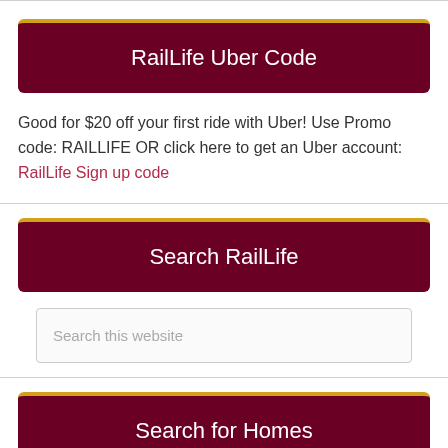RailLife Uber Code
Good for $20 off your first ride with Uber! Use Promo code: RAILLIFE OR click here to get an Uber account: RailLife Sign up code
Search RailLife
Search this website
Search for Homes